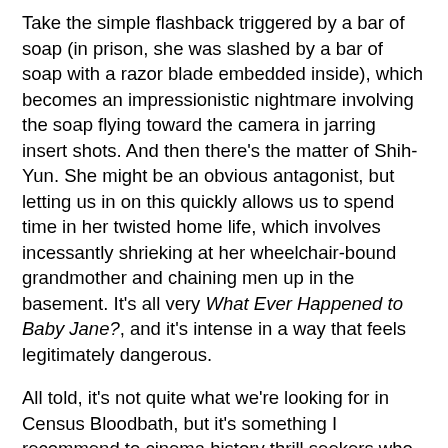Take the simple flashback triggered by a bar of soap (in prison, she was slashed by a bar of soap with a razor blade embedded inside), which becomes an impressionistic nightmare involving the soap flying toward the camera in jarring insert shots. And then there's the matter of Shih-Yun. She might be an obvious antagonist, but letting us in on this quickly allows us to spend time in her twisted home life, which involves incessantly shrieking at her wheelchair-bound grandmother and chaining men up in the basement. It's all very What Ever Happened to Baby Jane?, and it's intense in a way that feels legitimately dangerous.
All told, it's not quite what we're looking for in Census Bloodbath, but it's something I recommend to cinema history thrill seekers who want to take a walk on the obscure side. I had a ball watching Exposed to Kill, and while it has its flaws, it's hard not to be sucked in by its unique style and characters. I think this movie struggles to carve a space for itself in film fandom by its lack of a firm genre. People who approach it as a slasher are inevitably going to be disappointed, as are the people who found it in the pack of kung fu films where it has mostly been available in this